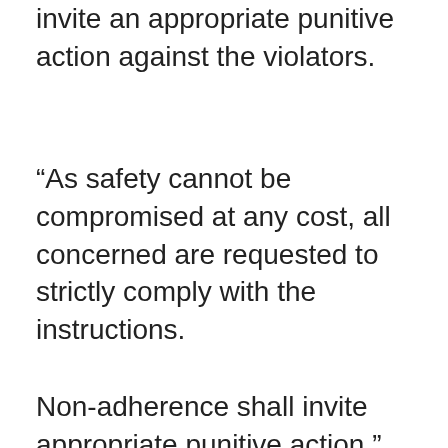invite an appropriate punitive action against the violators.
“As safety cannot be compromised at any cost, all concerned are requested to strictly comply with the instructions.
Non-adherence shall invite appropriate punitive action,” the message reads.
ADVERTISEMENT